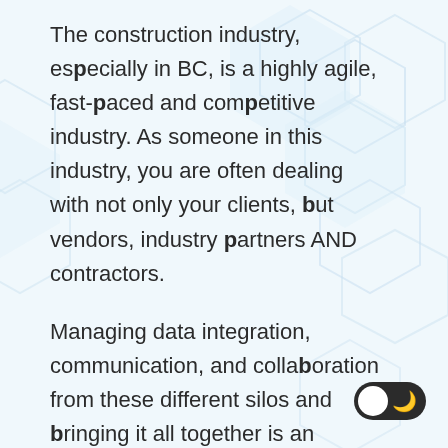The construction industry, especially in BC, is a highly agile, fast-paced and competitive industry. As someone in this industry, you are often dealing with not only your clients, but vendors, industry partners AND contractors.
Managing data integration, communication, and collaboration from these different silos and bringing it all together is an ongoing challenge...